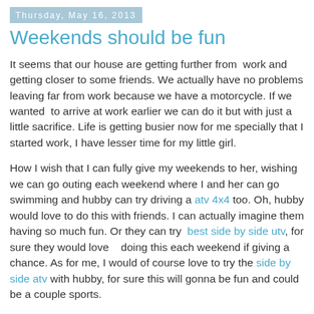Thursday, May 16, 2013
Weekends should be fun
It seems that our house are getting further from  work and getting closer to some friends. We actually have no problems leaving far from work because we have a motorcycle. If we wanted  to arrive at work earlier we can do it but with just a little sacrifice. Life is getting busier now for me specially that I started work, I have lesser time for my little girl.
How I wish that I can fully give my weekends to her, wishing we can go outing each weekend where I and her can go swimming and hubby can try driving a atv 4x4 too. Oh, hubby would love to do this with friends. I can actually imagine them having so much fun. Or they can try  best side by side utv, for sure they would love   doing this each weekend if giving a chance. As for me, I would of course love to try the side by side atv with hubby, for sure this will gonna be fun and could be a couple sports.
Hubby has a band and every time they a recording session his hand must not be hurt, they both first before going in...